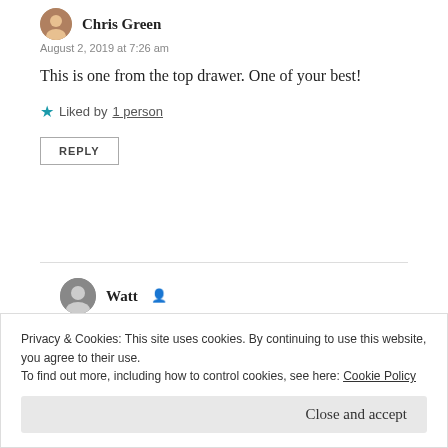Chris Green
August 2, 2019 at 7:26 am
This is one from the top drawer. One of your best!
Liked by 1 person
REPLY
Watt
August 2, 2019 at 10:37 am
Hey!
Privacy & Cookies: This site uses cookies. By continuing to use this website, you agree to their use.
To find out more, including how to control cookies, see here: Cookie Policy
Close and accept